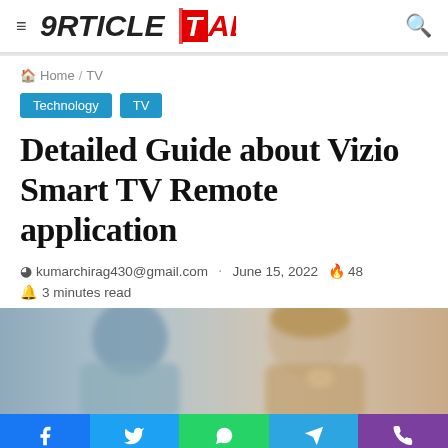ArticleTab logo and search icon
Home / TV
Technology  TV
Detailed Guide about Vizio Smart TV Remote application
kumarchirag430@gmail.com · June 15, 2022 🔥 48
3 minutes read
[Figure (photo): Two people (man and woman) in a blurred photo, woman appears to be thinking with hand near chin]
[Figure (infographic): Social sharing bar with Facebook, Twitter, WhatsApp, Telegram, and Phone buttons]